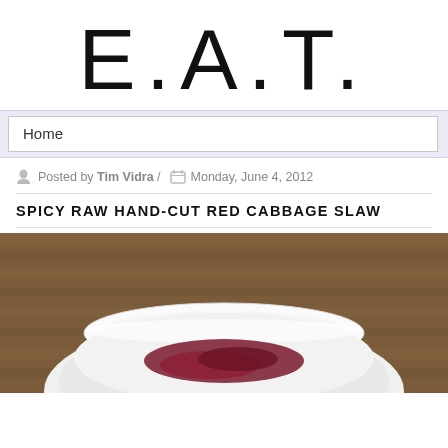E.A.T.
Home
Posted by Tim Vidra /  Monday, June 4, 2012
SPICY RAW HAND-CUT RED CABBAGE SLAW
[Figure (photo): Close-up photo of a white fluted bowl or dish against a warm brown wooden background, with a dark red/purple food item (cabbage slaw) visible inside the bowl.]